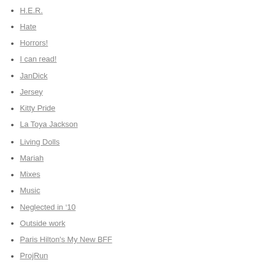H.E.R.
Hate
Horrors!
I can read!
JanDick
Jersey
Kitty Pride
La Toya Jackson
Living Dolls
Mariah
Mixes
Music
Neglected in '10
Outside work
Paris Hilton's My New BFF
ProjRun
Random YouTubes
Spinning